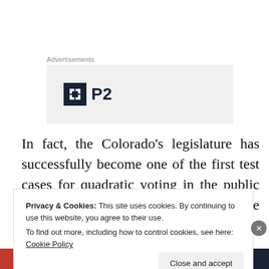Advertisements
[Figure (logo): P2 logo — dark square icon with H-like symbol and 'P2' text]
In fact, the Colorado's legislature has successfully become one of the first test cases for quadratic voting in the public policy realm. This is the remarkable story of how it deployed Quadratic
Privacy & Cookies: This site uses cookies. By continuing to use this website, you agree to their use.
To find out more, including how to control cookies, see here: Cookie Policy
Close and accept